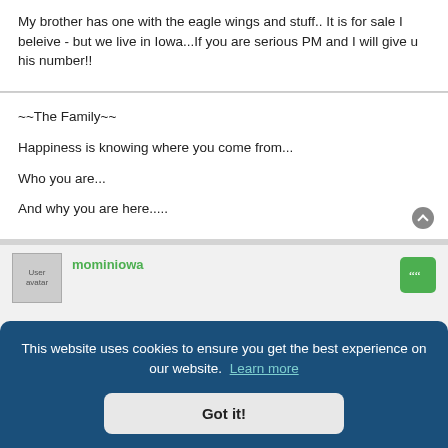My brother has one with the eagle wings and stuff.. It is for sale I beleive - but we live in Iowa...If you are serious PM and I will give u his number!!
~~The Family~~

Happiness is knowing where you come from...

Who you are...

And why you are here.....
mominiowa
This website uses cookies to ensure you get the best experience on our website. Learn more
Got it!